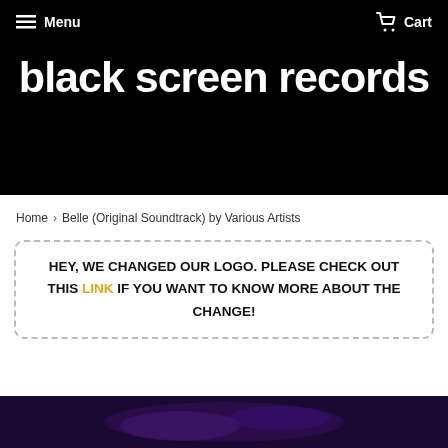Menu   Cart
[Figure (logo): Black Screen Records logo — white bubbly/rounded font text 'black screen records' on black background]
Home › Belle (Original Soundtrack) by Various Artists
HEY, WE CHANGED OUR LOGO. PLEASE CHECK OUT THIS LINK IF YOU WANT TO KNOW MORE ABOUT THE CHANGE!
[Figure (photo): Bottom strip showing partial product image with purple/dark tones]